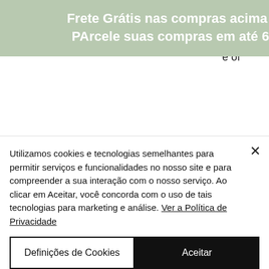Frete Grátis nas compras acima de R$249,00
PArcele suas compras em até 6x sem juros
supplements to promote a bodybuilder's physique are supplements specifically designed to improve and/or maintain the body's nutritional requirements, and in the case of A1As specifically, to keep their
Utilizamos cookies e tecnologias semelhantes para permitir serviços e funcionalidades no nosso site e para compreender a sua interação com o nosso serviço. Ao clicar em Aceitar, você concorda com o uso de tais tecnologias para marketing e análise. Ver a Política de Privacidade
Definições de Cookies
Aceitar